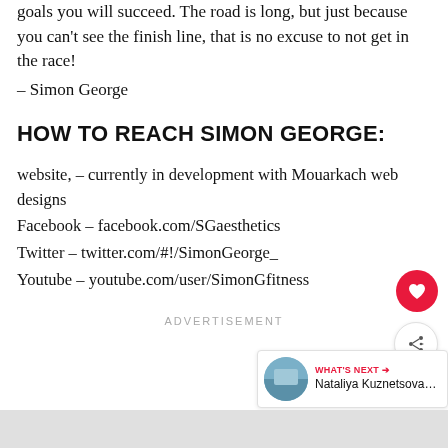goals you will succeed. The road is long, but just because you can't see the finish line, that is no excuse to not get in the race!
– Simon George
HOW TO REACH SIMON GEORGE:
website, – currently in development with Mouarkach web designs
Facebook – facebook.com/SGaesthetics
Twitter – twitter.com/#!/SimonGeorge_
Youtube – youtube.com/user/SimonGfitness
ADVERTISEMENT